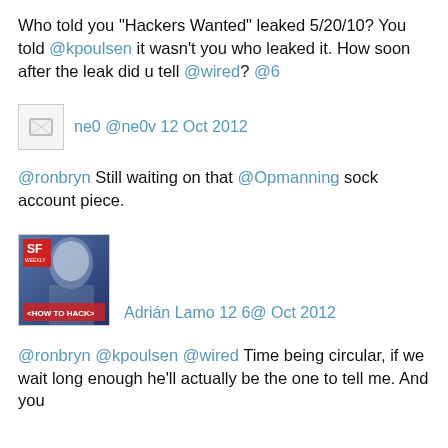Who told you "Hackers Wanted" leaked 5/20/10? You told @kpoulsen it wasn't you who leaked it. How soon after the leak did u tell @wired? @6
[Figure (other): Broken image placeholder avatar for user ne0 @ne0v]
ne0 @ne0v 12 Oct 2012
@ronbryn Still waiting on that @Opmanning sock account piece.
[Figure (photo): SF Weekly magazine cover showing a man with shaved head and text 'HOW TO HACK']
Adrián Lamo 12 6@ Oct 2012
@ronbryn @kpoulsen @wired Time being circular, if we wait long enough he'll actually be the one to tell me. And you